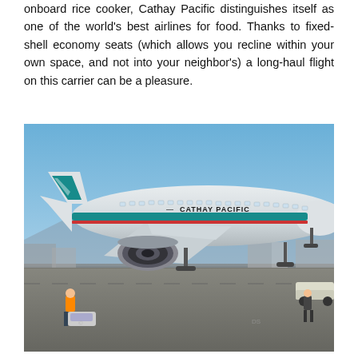onboard rice cooker, Cathay Pacific distinguishes itself as one of the world's best airlines for food. Thanks to fixed-shell economy seats (which allows you recline within your own space, and not into your neighbor's) a long-haul flight on this carrier can be a pleasure.
[Figure (photo): A Cathay Pacific Boeing 777 aircraft on the tarmac at an airport. The plane is white with teal and red stripes. 'CATHAY PACIFIC' is written on the fuselage. Ground crew in orange vest visible near front left, another person near rear landing gear. A tug vehicle is visible at right. Blue sky in background.]